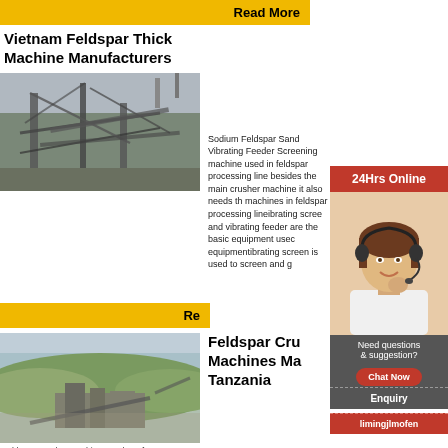Read More
Vietnam Feldspar Thick Machine Manufacturers
[Figure (photo): Industrial feldspar processing machinery with steel framework structures and conveyor systems]
Sodium Feldspar Sand Vibrating Feeder Screening machine used in feldspar processing line besides the main crusher machine it also needs the machines in feldspar processing lineibrating screen and vibrating feeder are the basic equipment used equipmentibrating screen is used to screen and g
24Hrs Online
[Figure (photo): Customer support agent, woman with headset smiling]
Need questions & suggestion?
Chat Now
Enquiry
limingjlmofen
Read More
Feldspar Crusher Machines Ma Tanzania
[Figure (photo): Aerial view of a feldspar mining and crushing facility in Tanzania with green hills in the background]
Feldspar Crusher Machine  Crusher of XSM XSM